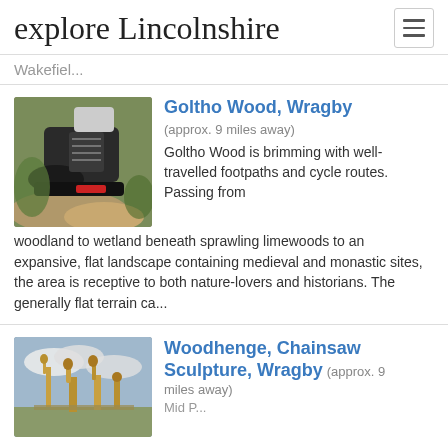explore Lincolnshire
Wakefiel...
[Figure (photo): Close-up of a hiking boot on rocky ground with vegetation in background]
Goltho Wood, Wragby
(approx. 9 miles away)
Goltho Wood is brimming with well-travelled footpaths and cycle routes. Passing from woodland to wetland beneath sprawling limewoods to an expansive, flat landscape containing medieval and monastic sites, the area is receptive to both nature-lovers and historians. The generally flat terrain ca...
[Figure (photo): Wooden chainsaw sculptures of animals/figures outdoors against a cloudy sky]
Woodhenge, Chainsaw Sculpture, Wragby
(approx. 9 miles away)
Mid P...